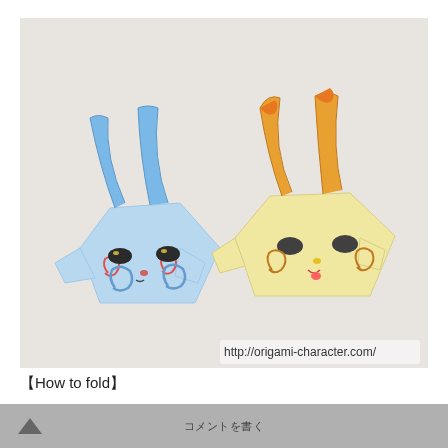[Figure (photo): Two origami character faces on a light gray/white textured background. Left: a light blue origami figure with blue spiky ear-like protrusions featuring swirl patterns, dark oval eyes, pink swirl cheek marks, and small nose/mouth. Right: a light yellow/cream origami figure with orange flame-like protrusions, dark oval eyes, orange swirl cheek marks, small yellow nose and pink tongue. Both appear to be Yo-kai Watch characters made from folded paper. Website watermark reads: http://origami-character.com/]
【How to fold】
★Fold it in half and crease it...
▲   コメントを書く